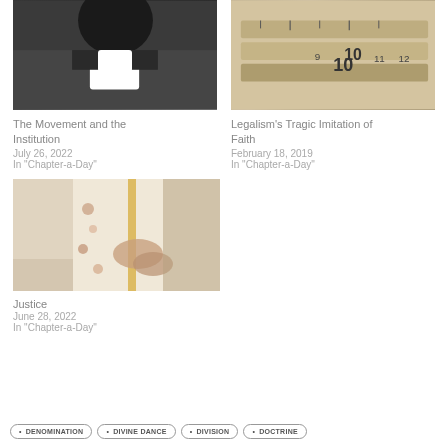[Figure (photo): Close-up photo of a person wearing clerical collar (white tab collar) on dark clothing]
The Movement and the Institution
July 26, 2022
In "Chapter-a-Day"
[Figure (photo): Close-up photo of rulers/measuring tools with visible numbers including 10]
Legalism's Tragic Imitation of Faith
February 18, 2019
In "Chapter-a-Day"
[Figure (photo): Photo of a ceremonial or religious scene with decorated garments]
Justice
June 28, 2022
In "Chapter-a-Day"
• DENOMINATION
• DIVINE DANCE
• DIVISION
• DOCTRINE